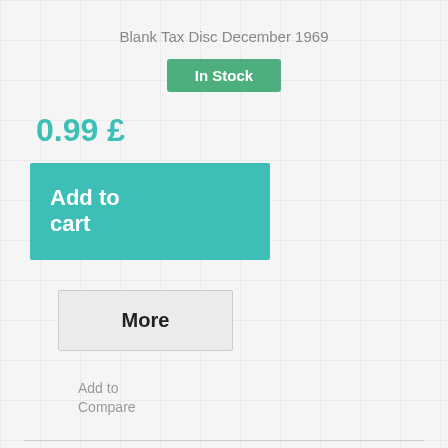Blank Tax Disc December 1969
In Stock
0.99 £
Add to cart
More
Add to Compare
Compare (0) >